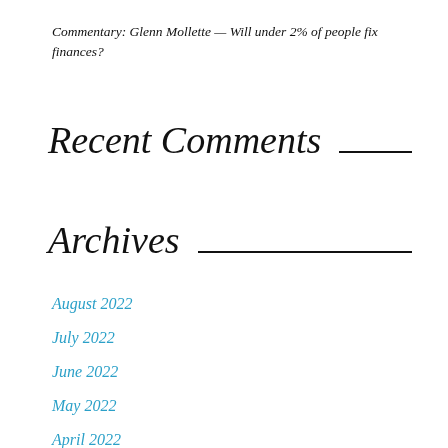Commentary: Glenn Mollette — Will under 2% of people fix finances?
Recent Comments
Archives
August 2022
July 2022
June 2022
May 2022
April 2022
March 2022